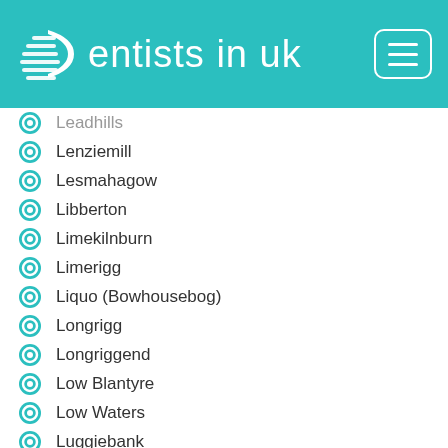dentists in uk
Leadhills
Lenziemill
Lesmahagow
Libberton
Limekilnburn
Limerigg
Liquo (Bowhousebog)
Longrigg
Longriggend
Low Blantyre
Low Waters
Luggiebank
Machan
March
Marnock
Medwin Water
Meikle Earnock
Midlock